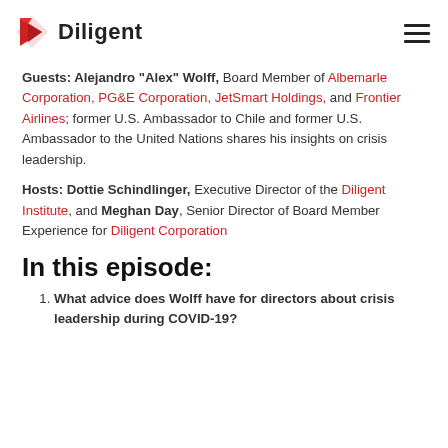Diligent
Guests: Alejandro "Alex" Wolff, Board Member of Albemarle Corporation, PG&E Corporation, JetSmart Holdings, and Frontier Airlines; former U.S. Ambassador to Chile and former U.S. Ambassador to the United Nations shares his insights on crisis leadership.
Hosts: Dottie Schindlinger, Executive Director of the Diligent Institute, and Meghan Day, Senior Director of Board Member Experience for Diligent Corporation
In this episode:
What advice does Wolff have for directors about crisis leadership during COVID-19?